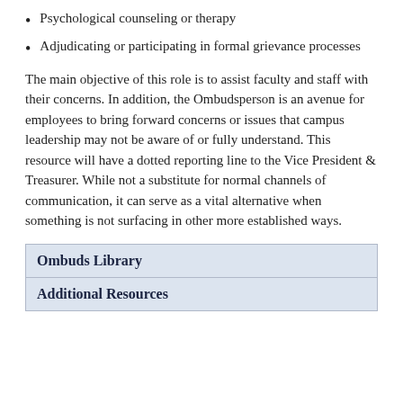Psychological counseling or therapy
Adjudicating or participating in formal grievance processes
The main objective of this role is to assist faculty and staff with their concerns. In addition, the Ombudsperson is an avenue for employees to bring forward concerns or issues that campus leadership may not be aware of or fully understand. This resource will have a dotted reporting line to the Vice President & Treasurer. While not a substitute for normal channels of communication, it can serve as a vital alternative when something is not surfacing in other more established ways.
| Ombuds Library |
| Additional Resources |